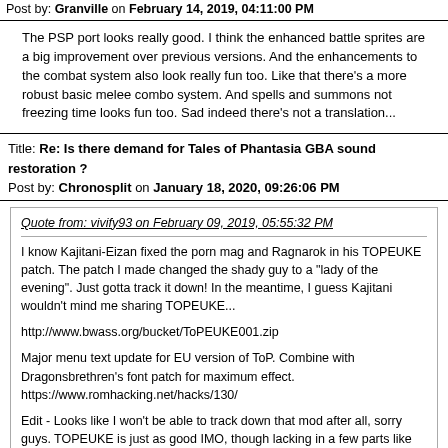Post by: Granville on February 14, 2019, 04:11:00 PM
The PSP port looks really good. I think the enhanced battle sprites are a big improvement over previous versions. And the enhancements to the combat system also look really fun too. Like that there's a more robust basic melee combo system. And spells and summons not freezing time looks fun too. Sad indeed there's not a translation...
Title: Re: Is there demand for Tales of Phantasia GBA sound restoration ?
Post by: Chronosplit on January 18, 2020, 09:26:06 PM
Quote from: vivify93 on February 09, 2019, 05:55:32 PM
I know Kajitani-Eizan fixed the porn mag and Ragnarok in his TOPEUKE patch. The patch I made changed the shady guy to a "lady of the evening". Just gotta track it down! In the meantime, I guess Kajitani wouldn't mind me sharing TOPEUKE...

http://www.bwass.org/bucket/ToPEUKE001.zip

Major menu text update for EU version of ToP. Combine with Dragonsbrethren's font patch for maximum effect.
https://www.romhacking.net/hacks/130/

Edit - Looks like I won't be able to track down that mod after all, sorry guys. TOPEUKE is just as good IMO, though lacking in a few parts like most of the dialogue